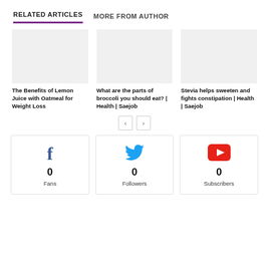RELATED ARTICLES
MORE FROM AUTHOR
[Figure (photo): Placeholder image for article about lemon juice with oatmeal]
The Benefits of Lemon Juice with Oatmeal for Weight Loss
[Figure (photo): Placeholder image for article about broccoli]
What are the parts of broccoli you should eat? | Health | Saejob
[Figure (photo): Placeholder image for stevia article]
Stevia helps sweeten and fights constipation | Health | Saejob
0 Fans
0 Followers
0 Subscribers